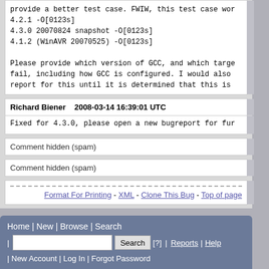provide a better test case. FWIW, this test case wor
4.2.1 -O[0123s]
4.3.0 20070824 snapshot -O[0123s]
4.1.2 (WinAVR 20070525) -O[0123s]

Please provide which version of GCC, and which targe
fail, including how GCC is configured. I would also
report for this until it is determined that this is
Richard Biener    2008-03-14 16:39:01 UTC
Fixed for 4.3.0, please open a new bugreport for fur
Comment hidden (spam)
Comment hidden (spam)
Format For Printing - XML - Clone This Bug - Top of page
Home | New | Browse | Search | Search | [?] | Reports | Help | New Account | Log In | Forgot Password